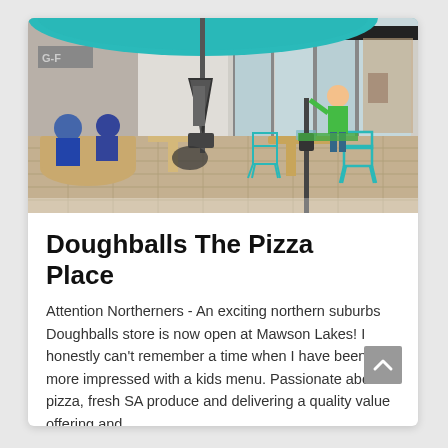[Figure (photo): Outdoor seating area of Doughballs The Pizza Place restaurant, showing teal umbrella, pyramid heater, teal wire chairs, wooden tables, and storefront with glass doors. A child in green is visible near the entrance.]
Doughballs The Pizza Place
Attention Northerners - An exciting northern suburbs Doughballs store is now open at Mawson Lakes! I honestly can't remember a time when I have been more impressed with a kids menu. Passionate about pizza, fresh SA produce and delivering a quality value offering and...